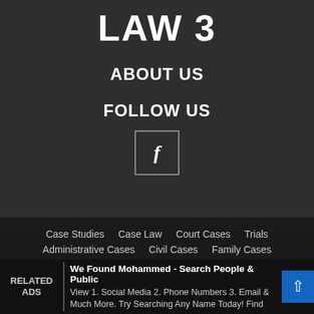[Figure (logo): LAW 3 logo in large bold white uppercase text on dark background]
ABOUT US
FOLLOW US
[Figure (illustration): Facebook icon in a bordered square box]
Case Studies   Case Law   Court Cases   Trials
Administrative Cases   Civil Cases   Family Cases
We Found Mohammed - Search People & Public View 1. Social Media 2. Phone Numbers 3. Email & Much More. Try Searching Any Name Today! Find